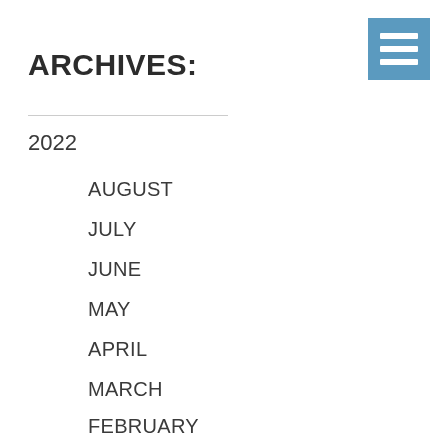ARCHIVES:
2022
AUGUST
JULY
JUNE
MAY
APRIL
MARCH
FEBRUARY
JANUARY
2021
DECEMBER